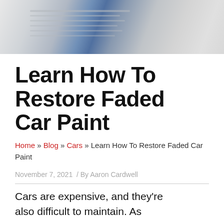[Figure (photo): Partial view of a car interior/exterior showing light-colored surfaces, possibly a car door or panel with vent or grille details, with a blue object visible in the background.]
Learn How To Restore Faded Car Paint
Home » Blog » Cars » Learn How To Restore Faded Car Paint
November 7, 2021 / By Aaron Cardwell
Cars are expensive, and they're also difficult to maintain. As